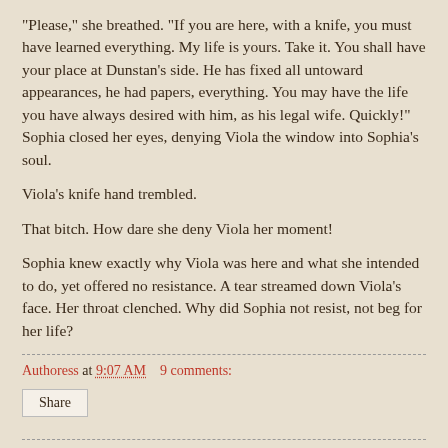"Please," she breathed. "If you are here, with a knife, you must have learned everything. My life is yours. Take it. You shall have your place at Dunstan's side. He has fixed all untoward appearances, he had papers, everything. You may have the life you have always desired with him, as his legal wife. Quickly!" Sophia closed her eyes, denying Viola the window into Sophia's soul.
Viola's knife hand trembled.
That bitch. How dare she deny Viola her moment!
Sophia knew exactly why Viola was here and what she intended to do, yet offered no resistance. A tear streamed down Viola's face. Her throat clenched. Why did Sophia not resist, not beg for her life?
Authoress at 9:07 AM   9 comments: